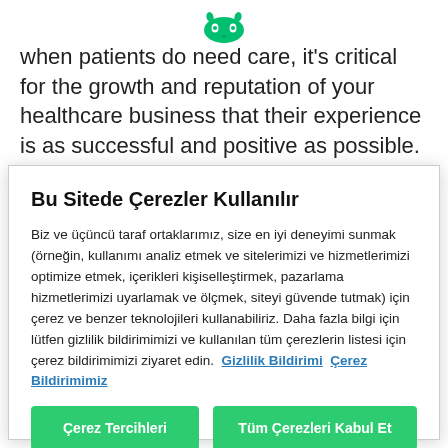[Figure (logo): SurveyMonkey owl head logo in green]
when patients do need care, it's critical for the growth and reputation of your healthcare business that their experience is as successful and positive as possible. In fact, recent research from SurveyMonkey found that 88 percent of healthcare executives said that understanding
Bu Sitede Çerezler Kullanılır
Biz ve üçüncü taraf ortaklarımız, size en iyi deneyimi sunmak (örneğin, kullanımı analiz etmek ve sitelerimizi ve hizmetlerimizi optimize etmek, içerikleri kişiselleştirmek, pazarlama hizmetlerimizi uyarlamak ve ölçmek, siteyi güvende tutmak) için çerez ve benzer teknolojileri kullanabiliriz. Daha fazla bilgi için lütfen gizlilik bildirimimizi ve kullanılan tüm çerezlerin listesi için çerez bildirimimizi ziyaret edin. Gizlilik Bildirimi Çerez Bildirimimiz
Çerez Tercihleri | Tüm Çerezleri Kabul Et